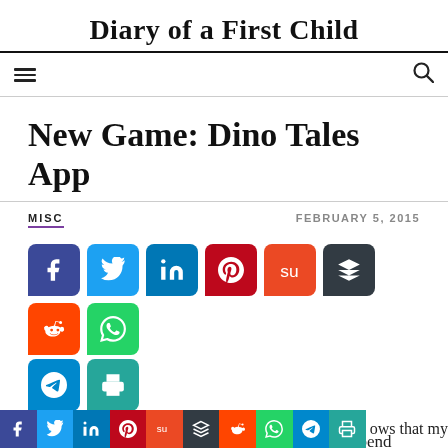Diary of a First Child
New Game: Dino Tales App
MISC
FEBRUARY 5, 2015
[Figure (infographic): Row of social share buttons: Facebook, Twitter, LinkedIn, Pinterest, StumbleUpon, Buffer, Reddit, WhatsApp; second row: Telegram, Print]
In my life before kids, I loved gaming. I would spend
ows that my